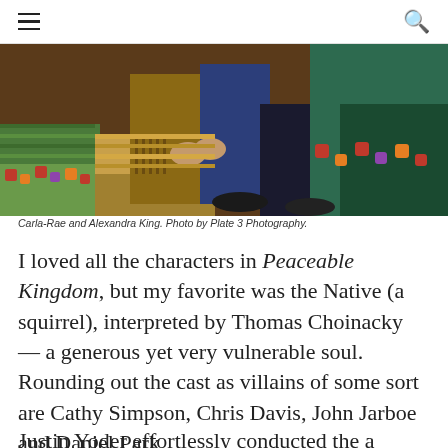☰   🔍
[Figure (photo): Two people sitting on colorful patterned blankets/quilts on a stage floor, wearing costumes. Partial view showing lower bodies and hands — Carla-Rae and Alexandra King in a theatrical production.]
Carla-Rae and Alexandra King. Photo by Plate 3 Photography.
I loved all the characters in Peaceable Kingdom, but my favorite was the Native (a squirrel), interpreted by Thomas Choinacky — a generous yet very vulnerable soul. Rounding out the cast as villains of some sort are Cathy Simpson, Chris Davis, John Jarboe and Daniel Park.
Justin Yoder effortlessly conducted the a cappella